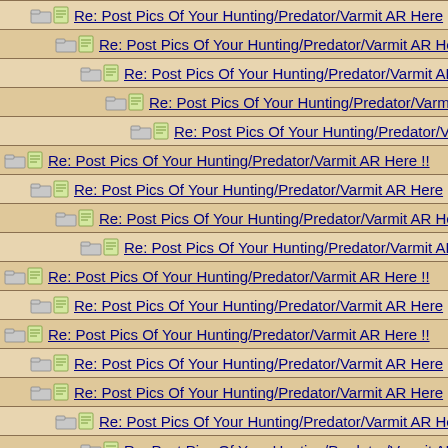Re: Post Pics Of Your Hunting/Predator/Varmit AR Here
Re: Post Pics Of Your Hunting/Predator/Varmit AR He
Re: Post Pics Of Your Hunting/Predator/Varmit AR H
Re: Post Pics Of Your Hunting/Predator/Varmit AR
Re: Post Pics Of Your Hunting/Predator/Varmit
Re: Post Pics Of Your Hunting/Predator/Varmit AR Here !!
Re: Post Pics Of Your Hunting/Predator/Varmit AR Here
Re: Post Pics Of Your Hunting/Predator/Varmit AR He
Re: Post Pics Of Your Hunting/Predator/Varmit AR H
Re: Post Pics Of Your Hunting/Predator/Varmit AR Here !!
Re: Post Pics Of Your Hunting/Predator/Varmit AR Here
Re: Post Pics Of Your Hunting/Predator/Varmit AR Here !!
Re: Post Pics Of Your Hunting/Predator/Varmit AR Here
Re: Post Pics Of Your Hunting/Predator/Varmit AR Here
Re: Post Pics Of Your Hunting/Predator/Varmit AR He
Re: Post Pics Of Your Hunting/Predator/Varmit AR H
Re: Post Pics Of Your Hunting/Predator/Varmit AR
Re: Post Pics Of Your Hunting/Predator/Varmit